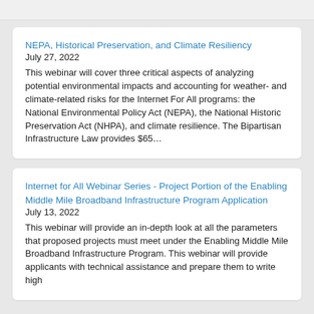NEPA, Historical Preservation, and Climate Resiliency
July 27, 2022
This webinar will cover three critical aspects of analyzing potential environmental impacts and accounting for weather- and climate-related risks for the Internet For All programs: the National Environmental Policy Act (NEPA), the National Historic Preservation Act (NHPA), and climate resilience. The Bipartisan Infrastructure Law provides $65…
Internet for All Webinar Series - Project Portion of the Enabling Middle Mile Broadband Infrastructure Program Application
July 13, 2022
This webinar will provide an in-depth look at all the parameters that proposed projects must meet under the Enabling Middle Mile Broadband Infrastructure Program. This webinar will provide applicants with technical assistance and prepare them to write high…